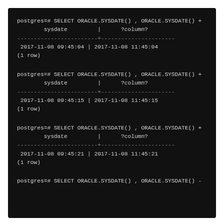[Figure (screenshot): Terminal/console screenshot showing PostgreSQL psql session with four repeated SELECT queries calling ORACLE.SYSDATE() and ORACLE.SYSDATE() + 2/24 with results showing timestamps 09:45:04, 09:45:15, 09:45:21, and a fourth query starting]
postgres=# SELECT ORACLE.SYSDATE() , ORACLE.SYSDATE() +
        sysdate         |      ?column?
------------------------+----------------------
 2017-11-08 09:45:04 | 2017-11-08 11:45:04
(1 row)

postgres=# SELECT ORACLE.SYSDATE() , ORACLE.SYSDATE() +
        sysdate         |      ?column?
------------------------+----------------------
 2017-11-08 09:45:15 | 2017-11-08 11:45:15
(1 row)

postgres=# SELECT ORACLE.SYSDATE() , ORACLE.SYSDATE() +
        sysdate         |      ?column?
------------------------+----------------------
 2017-11-08 09:45:21 | 2017-11-08 11:45:21
(1 row)

postgres=# SELECT ORACLE.SYSDATE() , ORACLE.SYSDATE() -